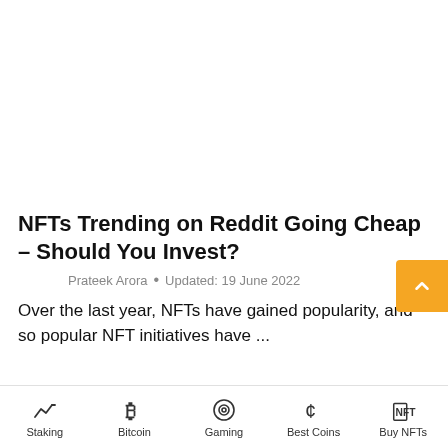NFTs Trending on Reddit Going Cheap – Should You Invest?
Prateek Arora • Updated: 19 June 2022
Over the last year, NFTs have gained popularity, and so popular NFT initiatives have ...
Staking | Bitcoin | Gaming | Best Coins | Buy NFTs